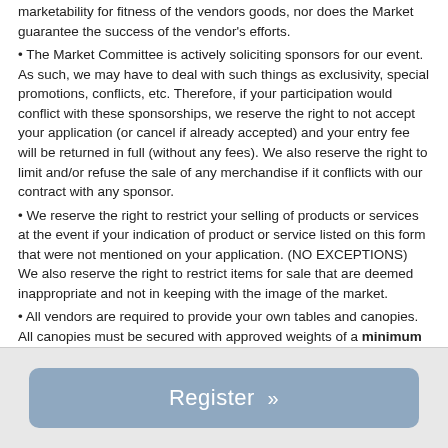marketability for fitness of the vendors goods, nor does the Market guarantee the success of the vendor's efforts.
The Market Committee is actively soliciting sponsors for our event. As such, we may have to deal with such things as exclusivity, special promotions, conflicts, etc. Therefore, if your participation would conflict with these sponsorships, we reserve the right to not accept your application (or cancel if already accepted) and your entry fee will be returned in full (without any fees). We also reserve the right to limit and/or refuse the sale of any merchandise if it conflicts with our contract with any sponsor.
We reserve the right to restrict your selling of products or services at the event if your indication of product or service listed on this form that were not mentioned on your application. (NO EXCEPTIONS) We also reserve the right to restrict items for sale that are deemed inappropriate and not in keeping with the image of the market.
All vendors are required to provide your own tables and canopies. All canopies must be secured with approved weights of a minimum of 24 lbs. on each leg of canopy.
Register »